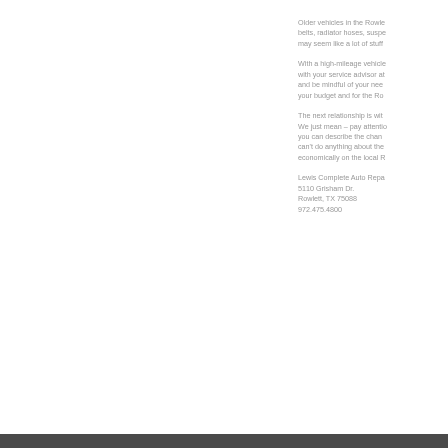Older vehicles in the Rowle… belts, radiator hoses, suspe… may seem like a lot of stuff …
With a high-mileage vehicle… with your service advisor at… and be mindful of your nee… your budget and for the Ro…
The next relationship is with… We just mean – pay attentio… you can describe the chan… can't do anything about the… economically on the local R…
Lewis Complete Auto Repa… 5110 Grisham Dr. Rowlett, TX 75088 972.475.4800